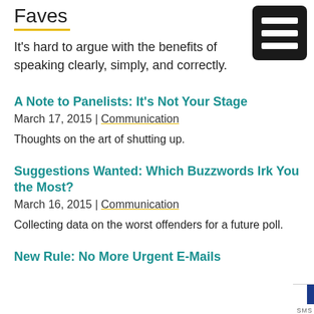Faves
It's hard to argue with the benefits of speaking clearly, simply, and correctly.
A Note to Panelists: It's Not Your Stage
March 17, 2015 | Communication
Thoughts on the art of shutting up.
Suggestions Wanted: Which Buzzwords Irk You the Most?
March 16, 2015 | Communication
Collecting data on the worst offenders for a future poll.
New Rule: No More Urgent E-Mails